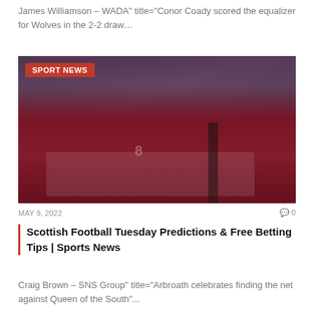James Williamson – WADA" title="Conor Coady scored the equalizer for Wolves in the 2-2 draw…
[Figure (photo): Football players in dark red/maroon jerseys celebrating on pitch, with crowd in background. A red badge overlay reads 'SPORT NEWS' in the top-left corner.]
MAY 9, 2022   💬 0
Scottish Football Tuesday Predictions & Free Betting Tips | Sports News
Craig Brown – SNS Group" title="Arbroath celebrates finding the net against Queen of the South"...